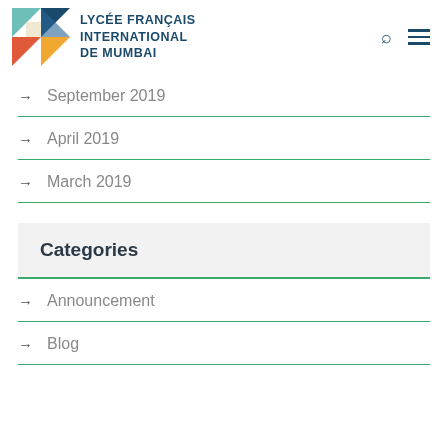[Figure (logo): Lycée Français International de Mumbai logo with colorful geometric shapes]
September 2019
April 2019
March 2019
Categories
Announcement
Blog